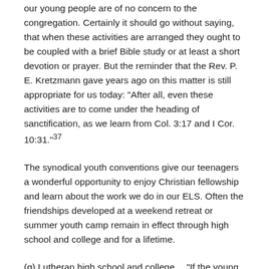our young people are of no concern to the congregation. Certainly it should go without saying, that when these activities are arranged they ought to be coupled with a brief Bible study or at least a short devotion or prayer. But the reminder that the Rev. P. E. Kretzmann gave years ago on this matter is still appropriate for us today: “After all, even these activities are to come under the heading of sanctification, as we learn from Col. 3:17 and I Cor. 10:31.”³⁷
The synodical youth conventions give our teenagers a wonderful opportunity to enjoy Christian fellowship and learn about the work we do in our ELS. Often the friendships developed at a weekend retreat or summer youth camp remain in effect through high school and college and for a lifetime.
(g) Lutheran high school and college… “If the young people of our congregations can be held to the Church and to the exercise of their Christian faith into their adult